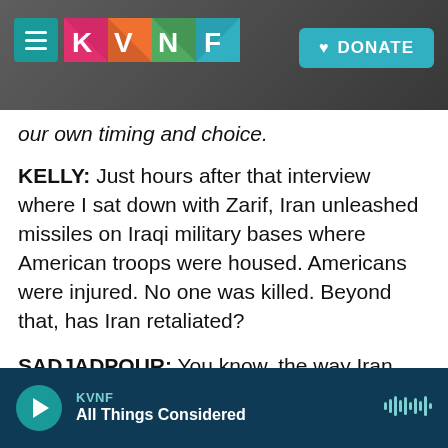KVNF — DONATE (navigation header)
our own timing and choice.
KELLY: Just hours after that interview where I sat down with Zarif, Iran unleashed missiles on Iraqi military bases where American troops were housed. Americans were injured. No one was killed. Beyond that, has Iran retaliated?
SADJADPOUR: You know, the way Iran retaliated that had the most lasting impact was actually shooting down a Ukraine Airways flight, which killed 176 people, which were mostly young Iranians, highly professional young diaspora Iranians. So the most devastating retaliation Iran tried to launch
KVNF — All Things Considered